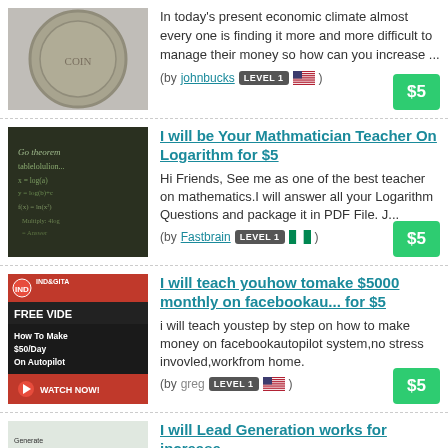In today's present economic climate almost every one is finding it more and more difficult to manage their money so how can you increase ...
(by johnbucks LEVEL 1 [US flag])
$5
I will be Your Mathmatician Teacher On Logarithm for $5
Hi Friends, See me as one of the best teacher on mathematics.I will answer all your Logarithm Questions and package it in PDF File. J...
(by Fastbrain LEVEL 1 [NG flag])
$5
I will teach youhow tomake $5000 monthly on facebookau... for $5
i will teach youstep by step on how to make money on facebookautopilot system,no stress invovled,workfrom home.
(by greg LEVEL 1 [US flag])
$5
I will Lead Generation works for increase